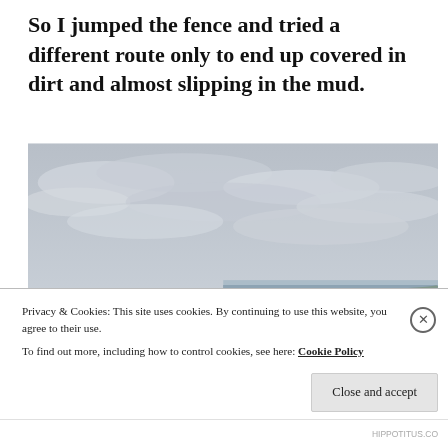So I jumped the fence and tried a different route only to end up covered in dirt and almost slipping in the mud.
[Figure (photo): A person with a backpack standing on the edge of coastal cliffs with green grass tops and the ocean below. The sky is overcast and grey. The cliffs extend into the distance along the coastline. Likely the Cliffs of Moher, Ireland.]
Privacy & Cookies: This site uses cookies. By continuing to use this website, you agree to their use.
To find out more, including how to control cookies, see here: Cookie Policy